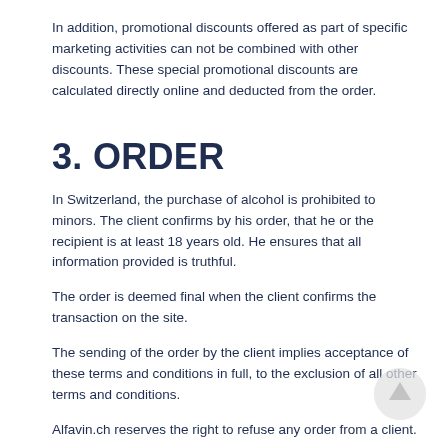In addition, promotional discounts offered as part of specific marketing activities can not be combined with other discounts. These special promotional discounts are calculated directly online and deducted from the order.
3. ORDER
In Switzerland, the purchase of alcohol is prohibited to minors. The client confirms by his order, that he or the recipient is at least 18 years old. He ensures that all information provided is truthful.
The order is deemed final when the client confirms the transaction on the site.
The sending of the order by the client implies acceptance of these terms and conditions in full, to the exclusion of all other terms and conditions.
Alfavin.ch reserves the right to refuse any order from a client.
When we run out of a vintage, we deliver the following available vintage, without any prior communication. This rule applies